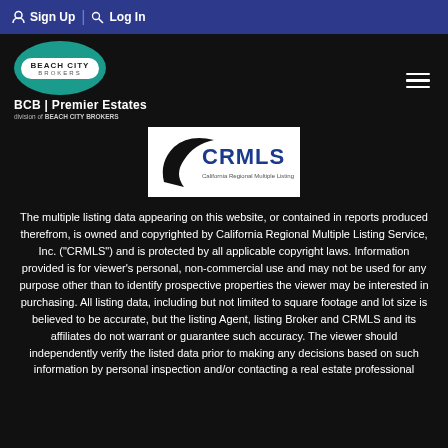Sign Up | Log In
[Figure (logo): Beach City Brokers / BCB Premier Estates logo on dark background]
[Figure (logo): CRMLS California Regional Multiple Listing Service, Inc. logo]
The multiple listing data appearing on this website, or contained in reports produced therefrom, is owned and copyrighted by California Regional Multiple Listing Service, Inc. ("CRMLS") and is protected by all applicable copyright laws. Information provided is for viewer's personal, non-commercial use and may not be used for any purpose other than to identify prospective properties the viewer may be interested in purchasing. All listing data, including but not limited to square footage and lot size is believed to be accurate, but the listing Agent, listing Broker and CRMLS and its affiliates do not warrant or guarantee such accuracy. The viewer should independently verify the listed data prior to making any decisions based on such information by personal inspection and/or contacting a real estate professional